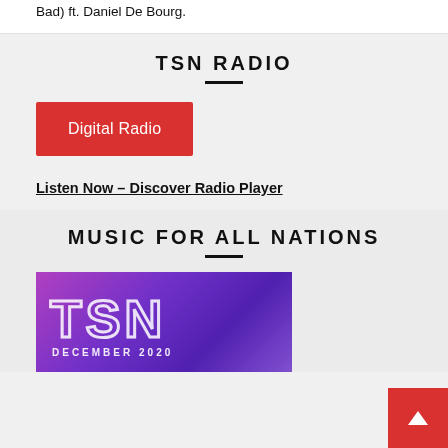Bad) ft. Daniel De Bourg.
TSN RADIO
[Figure (other): Red button labeled 'Digital Radio']
Listen Now – Discover Radio Player
MUSIC FOR ALL NATIONS
[Figure (illustration): TSN branded image with purple/pink gradient background showing 'TSN' in outlined text and 'DECEMBER 2020' text below]